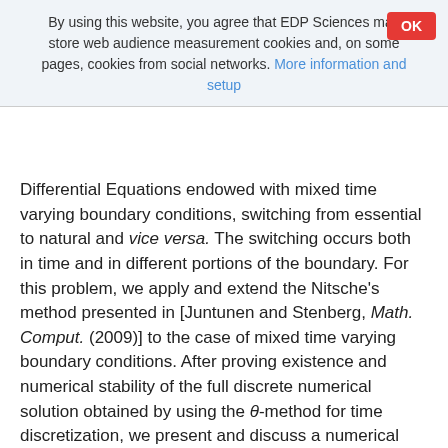By using this website, you agree that EDP Sciences may store web audience measurement cookies and, on some pages, cookies from social networks. More information and setup
Differential Equations endowed with mixed time varying boundary conditions, switching from essential to natural and vice versa. The switching occurs both in time and in different portions of the boundary. For this problem, we apply and extend the Nitsche’s method presented in [Juntunen and Stenberg, Math. Comput. (2009)] to the case of mixed time varying boundary conditions. After proving existence and numerical stability of the full discrete numerical solution obtained by using the θ-method for time discretization, we present and discuss a numerical test that compares our method to a standard approach based on remeshing and projection procedures.
Mathematics Subject Classification: 35K20 / 65M12 / 65M60 / 68U20 / 74S05